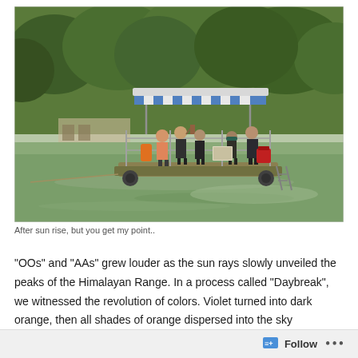[Figure (photo): A flat pontoon boat with a blue and white striped canopy on a calm green river or lake. Several people are standing on the boat. Trees and vegetation are visible in the background.]
After sun rise, but you get my point..
“OOs” and “AAs” grew louder as the sun rays slowly unveiled the peaks of the Himalayan Range. In a process called “Daybreak”, we witnessed the revolution of colors. Violet turned into dark orange, then all shades of orange dispersed into the sky miraculously metamorphosing into light blue and puffed out clouds to complete what makes the sky so pretty.
Follow ...